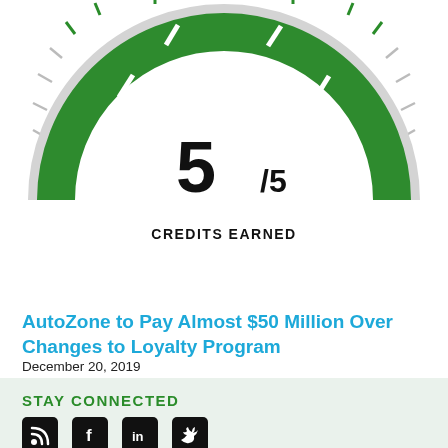[Figure (other): A semicircular gauge/speedometer style graphic showing 5 out of 5 credits earned. The gauge face is green with white segment dividers and tick marks radiating outward. Center shows '5/5' in large bold text. Below reads 'CREDITS EARNED' in bold caps.]
AutoZone to Pay Almost $50 Million Over Changes to Loyalty Program
December 20, 2019
STAY CONNECTED